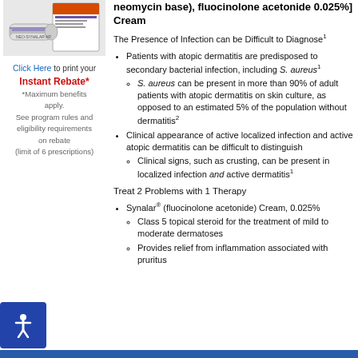[Figure (photo): Product image of a cream tube and box]
Click Here to print your Instant Rebate* *Maximum benefits apply. See program rules and eligibility requirements on rebate (limit of 6 prescriptions)
neomycin base), fluocinolone acetonide 0.025%] Cream
The Presence of Infection can be Difficult to Diagnose1
Patients with atopic dermatitis are predisposed to secondary bacterial infection, including S. aureus1
S. aureus can be present in more than 90% of adult patients with atopic dermatitis on skin culture, as opposed to an estimated 5% of the population without dermatitis2
Clinical appearance of active localized infection and active atopic dermatitis can be difficult to distinguish
Clinical signs, such as crusting, can be present in localized infection and active dermatitis1
Treat 2 Problems with 1 Therapy
Synalar® (fluocinolone acetonide) Cream, 0.025%
Class 5 topical steroid for the treatment of mild to moderate dermatoses
Provides relief from inflammation associated with pruritus